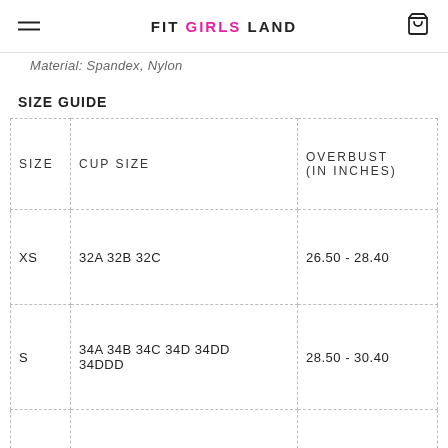FIT GIRLS LAND
Material: Spandex, Nylon
SIZE GUIDE
| SIZE | CUP SIZE | OVERBUST (IN INCHES) |
| --- | --- | --- |
| XS | 32A 32B 32C | 26.50 - 28.40 |
| S | 34A 34B 34C 34D 34DD 34DDD | 28.50 - 30.40 |
| M | 36A 36B 36C 36D 36DD 36DDD | 30.50 - 32.50 |